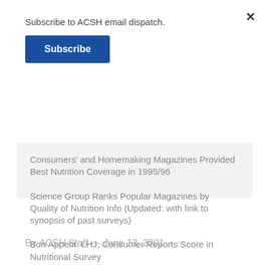Subscribe to ACSH email dispatch.
Subscribe
Consumers' and Homemaking Magazines Provided Best Nutrition Coverage in 1995/96
Science Group Ranks Popular Magazines by Quality of Nutrition Info (Updated: with link to synopsis of past surveys)
Bon Appetit: LHJ, Consumer Reports Score in Nutritional Survey
Survey Rates Magazines' Health Reporting
By ACSH Staff — June 13, 2001